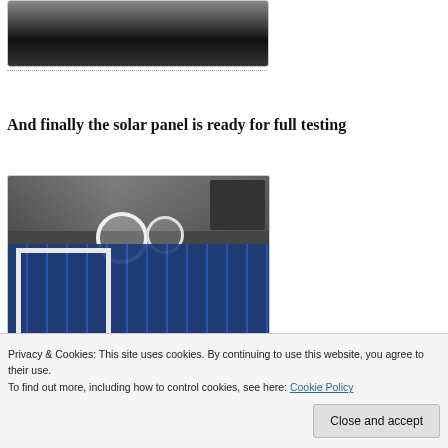[Figure (photo): Partial view of a dark/shadowed image at the top of the page, partially cropped, showing a mostly dark scene.]
And finally the solar panel is ready for full testing
[Figure (photo): Photo of a solar panel under construction, showing blue solar cells arranged in a frame with tape rolls and wires visible in the background.]
[Figure (photo): Partial bottom image showing blue solar panel cells, cropped at the bottom of the page.]
Privacy & Cookies: This site uses cookies. By continuing to use this website, you agree to their use. To find out more, including how to control cookies, see here: Cookie Policy
Close and accept